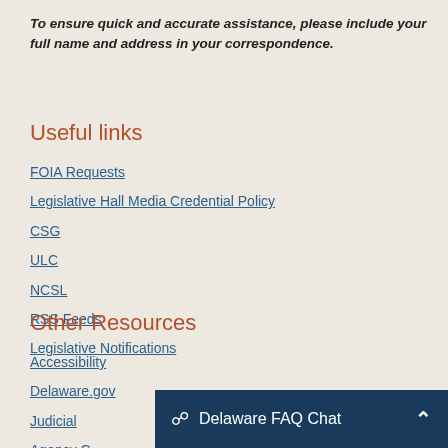To ensure quick and accurate assistance, please include your full name and address in your correspondence.
Useful links
FOIA Requests
Legislative Hall Media Credential Policy
CSG
ULC
NCSL
RSS Feeds
Legislative Notifications
Other Resources
Accessibility
Delaware.gov
Judicial
Agency C[ut off]
Copyright
[Figure (screenshot): Delaware FAQ Chat bar overlay at bottom of page, dark navy blue background with chat icon, text 'Delaware FAQ Chat', and an up-arrow caret button]